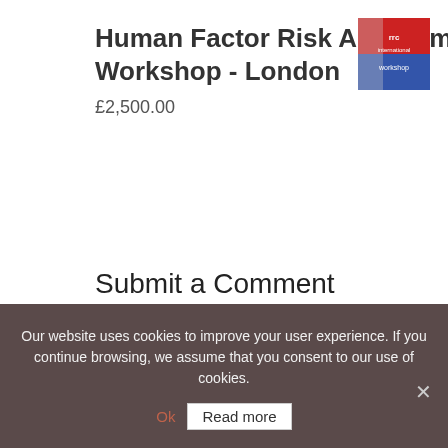Human Factor Risk Assessment Workshop - London
£2,500.00
[Figure (logo): RRC International Workshop logo with red, white and blue design]
Submit a Comment
Your email address will not be published.
Our website uses cookies to improve your user experience. If you continue browsing, we assume that you consent to our use of cookies.